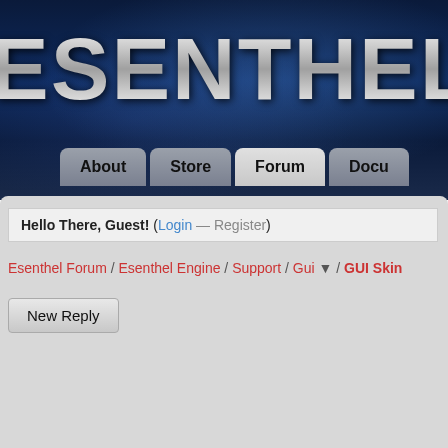ESENTHEL
[Figure (screenshot): Esenthel website navigation bar with About, Store, Forum, Docu buttons]
Hello There, Guest! (Login — Register)
Esenthel Forum / Esenthel Engine / Support / Gui / GUI Skin
New Reply
| AUTHOR | MESSAGE |
| --- | --- |
| Tottel (Member) | GUI Skin
Hi there!

I'm not sure how to do this best: I need to disp

First of all, Button::setImage() doesn't seem to

So, I went on to Button::skin::button to set nor
By default, skin is set to NULL. Should I creat |
GUI Skin